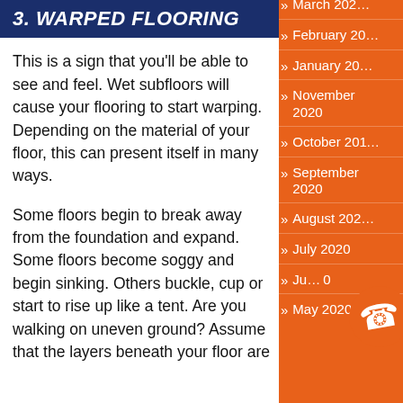3. WARPED FLOORING
This is a sign that you'll be able to see and feel. Wet subfloors will cause your flooring to start warping. Depending on the material of your floor, this can present itself in many ways.
Some floors begin to break away from the foundation and expand. Some floors become soggy and begin sinking. Others buckle, cup or start to rise up like a tent. Are you walking on uneven ground? Assume that the layers beneath your floor are
March 202...
February 20...
January 20...
November 2020
October 201...
September 2020
August 202...
July 2020
Ju... 0
May 2020